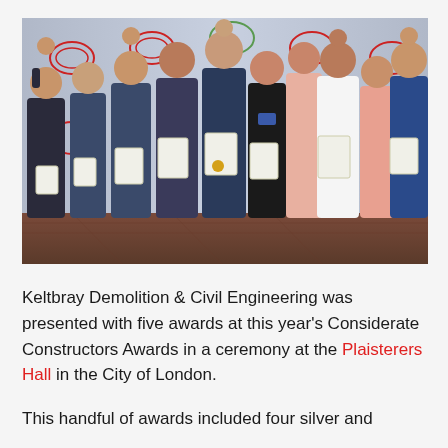[Figure (photo): Group photo of approximately 11 people celebrating at an awards ceremony, holding award certificates and raising fists in celebration. Background shows a branded event backdrop with Considerate Constructors logos.]
Keltbray Demolition & Civil Engineering was presented with five awards at this year's Considerate Constructors Awards in a ceremony at the Plaisterers Hall in the City of London.
This handful of awards included four silver and